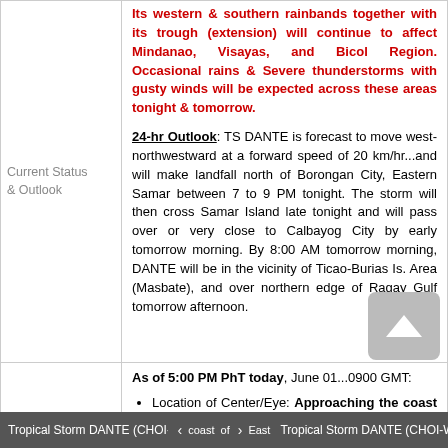|  |  |
| --- | --- |
| Current Status & Outlook | Its western & southern rainbands together with its trough (extension) will continue to affect Mindanao, Visayas, and Bicol Region. Occasional rains & Severe thunderstorms with gusty winds will be expected across these areas tonight & tomorrow.

24-hr Outlook: TS DANTE is forecast to move west-northwestward at a forward speed of 20 km/hr...and will make landfall north of Borongan City, Eastern Samar between 7 to 9 PM tonight. The storm will then cross Samar Island late tonight and will pass over or very close to Calbayog City by early tomorrow morning. By 8:00 AM tomorrow morning, DANTE will be in the vicinity of Ticao-Burias Is. Area (Masbate), and over northern edge of Ragay Gulf tomorrow afternoon. |
|  | As of 5:00 PM PhT today, June 01...0900 GMT:

• Location of Center/Eye: Approaching the coast of East...126.0°E) |
Tropical Storm DANTE (CHOI-WA... coast < of > East Tropical Storm DANTE (CHOI-WA...